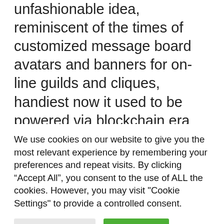unfashionable idea, reminiscent of the times of customized message board avatars and banners for on-line guilds and cliques, handiest now it used to be powered via blockchain era and had some genuine cash at the back of it. Much of what Remilia does has that very same unfashionable web really feel, entire with a website online that appears find it irresistible used to be made in 2004 and which gives virtually no
We use cookies on our website to give you the most relevant experience by remembering your preferences and repeat visits. By clicking “Accept All”, you consent to the use of ALL the cookies. However, you may visit "Cookie Settings" to provide a controlled consent.